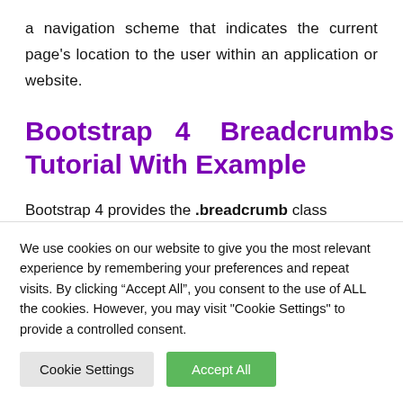a navigation scheme that indicates the current page's location to the user within an application or website.
Bootstrap 4 Breadcrumbs Tutorial With Example
Bootstrap 4 provides the .breadcrumb class
We use cookies on our website to give you the most relevant experience by remembering your preferences and repeat visits. By clicking “Accept All”, you consent to the use of ALL the cookies. However, you may visit "Cookie Settings" to provide a controlled consent.